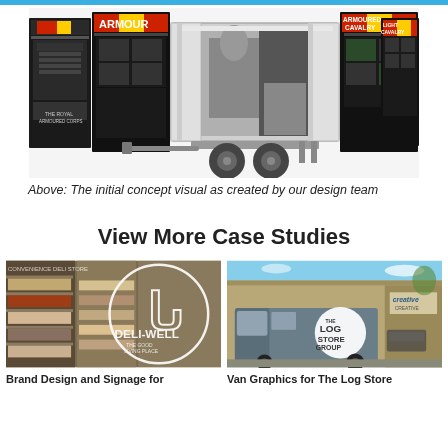[Figure (photo): Concept visual of a military exhibition trailer (Royal Armoured Corps) with side panels open showing Armour, Armoured Cavalry, and Light Cavalry display boards, with interior visible]
Above: The initial concept visual as created by our design team
View More Case Studies
[Figure (photo): Brand design and signage for Deli-Well convenience deli store, showing shelves with products and a circular logo with a wellington boot]
Brand Design and Signage for
[Figure (photo): Van graphics for The Log Store Group, showing a blue/grey van parked outside a commercial building with Creative branding, featuring The Log Store Group circular logo]
Van Graphics for The Log Store